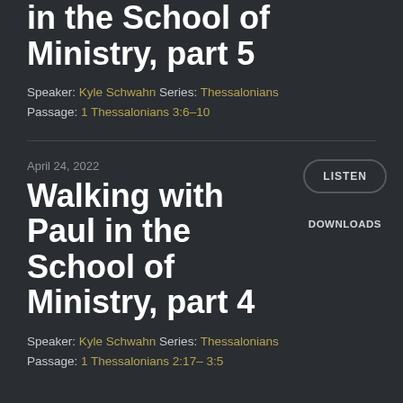in the School of Ministry, part 5
Speaker: Kyle Schwahn Series: Thessalonians
Passage: 1 Thessalonians 3:6–10
April 24, 2022
Walking with Paul in the School of Ministry, part 4
LISTEN
DOWNLOADS
Speaker: Kyle Schwahn Series: Thessalonians
Passage: 1 Thessalonians 2:17– 3:5